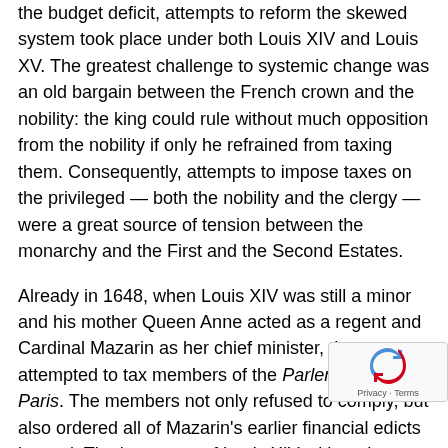the budget deficit, attempts to reform the skewed system took place under both Louis XIV and Louis XV. The greatest challenge to systemic change was an old bargain between the French crown and the nobility: the king could rule without much opposition from the nobility if only he refrained from taxing them. Consequently, attempts to impose taxes on the privileged — both the nobility and the clergy — were a great source of tension between the monarchy and the First and the Second Estates.
Already in 1648, when Louis XIV was still a minor and his mother Queen Anne acted as a regent and Cardinal Mazarin as her chief minister, the two attempted to tax members of the Parlement de Paris. The members not only refused to comply, but also ordered all of Mazarin's earlier financial edicts burned. The later wars of Louis XIV, although successful politically and militarily, exhausted the state's budget, which